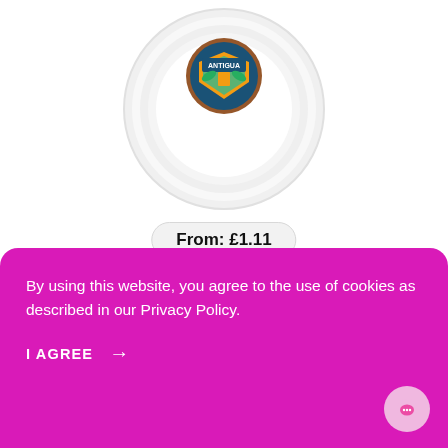[Figure (photo): White recycled frisbee with Antigua colorful shield/crest decal on top, shown on white background, partially cropped at top]
From: £1.11
Recycled Frisbee – Small (Full colour Decal)
50 Units @ £191.50
⏱ 5 – 0 Days
By using this website, you agree to the use of cookies as described in our Privacy Policy.

I AGREE →